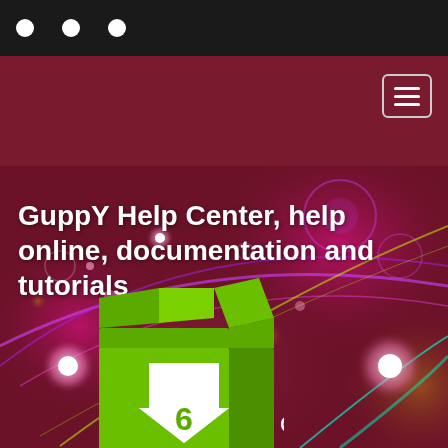[Figure (screenshot): Website screenshot of GuppY Help Center page showing a dark navigation bar with three white circle dots, a dark maroon header band with a hamburger menu button, a colorful bokeh hero image with purple, pink, and yellow light streaks on dark maroon background, bold white text reading 'GuppY Help Center, help online, documentation and tutorials', and a green open box graphic at the bottom with a white downward arrow showing number 6 and 'Guppy' text on the side panel.]